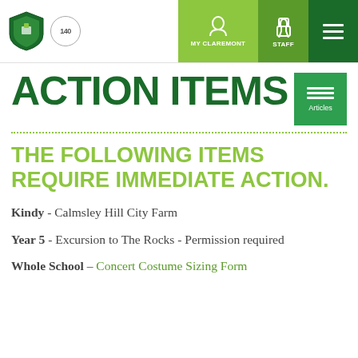MY CLAREMONT | STAFF | [menu]
ACTION ITEMS
THE FOLLOWING ITEMS REQUIRE IMMEDIATE ACTION.
Kindy - Calmsley Hill City Farm
Year 5 - Excursion to The Rocks - Permission required
Whole School – Concert Costume Sizing Form